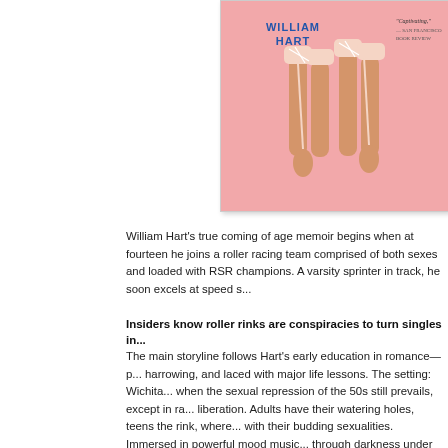[Figure (illustration): Book cover image on pink background showing legs with roller skates held overhead. Author name WILLIAM HART and quote 'Captivating.' — San Francisco Book Review visible.]
William Hart's true coming of age memoir begins when at fourteen he joins a roller racing team comprised of both sexes and loaded with RSR champions. A varsity sprinter in track, he soon excels at speed s...
Insiders know roller rinks are conspiracies to turn singles in...
The main storyline follows Hart's early education in romance—p... harrowing, and laced with major life lessons. The setting: Wichita... when the sexual repression of the 50s still prevails, except in ra... liberation. Adults have their watering holes, teens the rink, where... with their budding sexualities. Immersed in powerful mood music... through darkness under stars and make out in the bleachers. Fa... ridiculously easy, as we see in the adventures of teammates, pa... ...